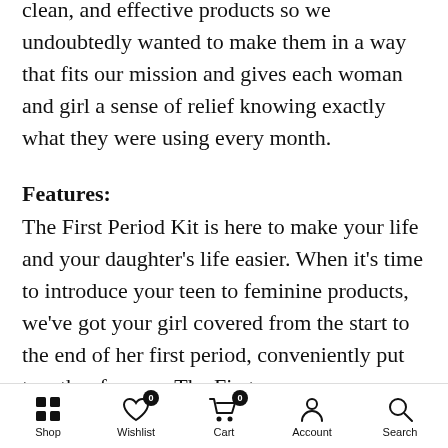clean, and effective products so we undoubtedly wanted to make them in a way that fits our mission and gives each woman and girl a sense of relief knowing exactly what they were using every month.
Features:
The First Period Kit is here to make your life and your daughter's life easier. When it's time to introduce your teen to feminine products, we've got your girl covered from the start to the end of her first period, conveniently put together for you. The First
Shop   Wishlist   Cart   Account   Search